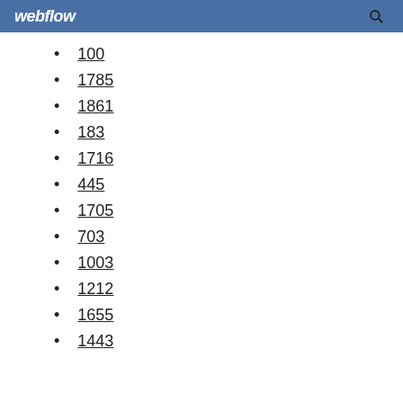webflow
100
1785
1861
183
1716
445
1705
703
1003
1212
1655
1443